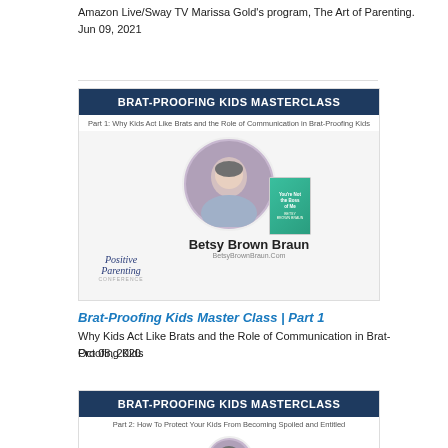Amazon Live/Sway TV Marissa Gold's program, The Art of Parenting.
Jun 09, 2021
[Figure (illustration): Brat-Proofing Kids Masterclass card with dark blue header, subtitle 'Part 1: Why Kids Act Like Brats and the Role of Communication in Brat-Proofing Kids', circular portrait of Betsy Brown Braun with her book 'You're Not the Boss of Me', Positive Parenting Conference logo, and speaker name/website.]
Brat-Proofing Kids Master Class | Part 1
Why Kids Act Like Brats and the Role of Communication in Brat-Proofing Kids
Oct 08, 2020
[Figure (illustration): Brat-Proofing Kids Masterclass card Part 2 with dark blue header and subtitle 'Part 2: How To Protect Your Kids From Becoming Spoiled and Entitled', with partial circular portrait at bottom.]